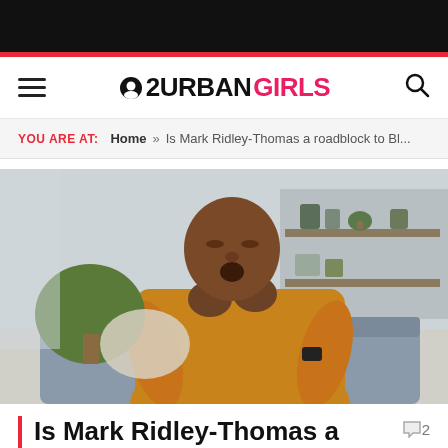2URBANGIRLS
YOU ARE AT: Home » Is Mark Ridley-Thomas a roadblock to Bl...
[Figure (photo): A Black man in an orange sweater sitting on a couch with eyes closed and hands clasped near his mouth, in a modern home interior with plants and shelving in background.]
Is Mark Ridley-Thomas a roadblock